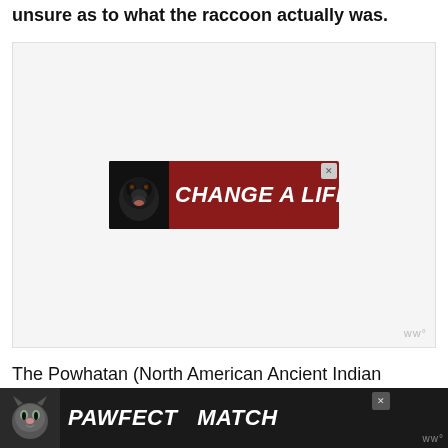unsure as to what the raccoon actually was.
[Figure (screenshot): Advertisement banner with dark red background showing a black dog and text 'CHANGE A LIFE' with a heart icon, with a close (X) button. Below is a gray placeholder/ad container with a 'ww°' watermark logo.]
The Powhatan (North American Ancient Indian l...
[Figure (screenshot): Bottom banner advertisement on dark background showing a cartoon cat face and text 'PAWFECT MATCH' with a close (X) button and 'ww°' logo.]